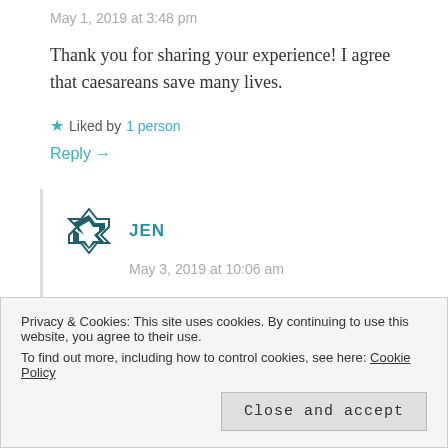May 1, 2019 at 3:48 pm
Thank you for sharing your experience! I agree that caesareans save many lives.
★ Liked by 1 person
Reply →
JEN
May 3, 2019 at 10:06 am
Yes it's brilliant that they can now be done! xx
Privacy & Cookies: This site uses cookies. By continuing to use this website, you agree to their use.
To find out more, including how to control cookies, see here: Cookie Policy
Close and accept